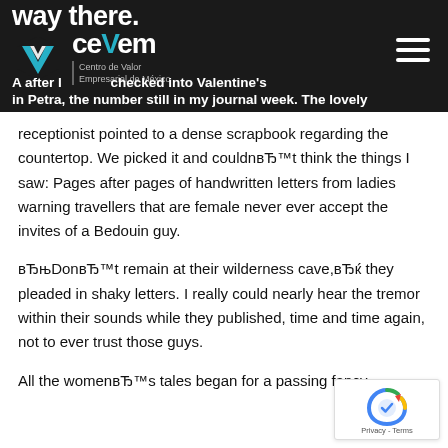way there. cevem Centro de Valor Empresarial de México — A after I checked into Valentine's in Petra, the number still in my journal week. The lovely receptionist pointed to a dense scrapbook regarding the countertop.
receptionist pointed to a dense scrapbook regarding the countertop. We picked it and couldn’t think the things I saw: Pages after pages of handwritten letters from ladies warning travellers that are female never ever accept the invites of a Bedouin guy.
“Don’t remain at their wilderness cave,” they pleaded in shaky letters. I really could nearly hear the tremor within their sounds while they published, time and time again, not to ever trust those guys.
All the women’s tales began for a passing fancy